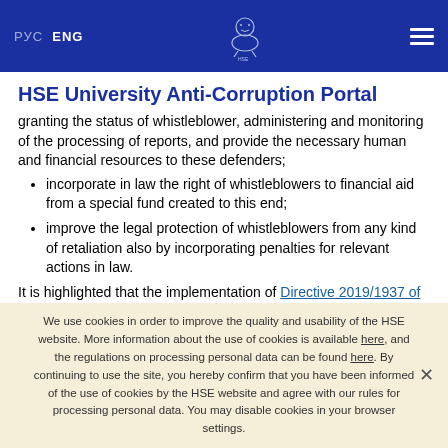РУС  ENG  [HSE Logo]  [Menu]
HSE University Anti-Corruption Portal
granting the status of whistleblower, administering and monitoring of the processing of reports, and provide the necessary human and financial resources to these defenders;
incorporate in law the right of whistleblowers to financial aid from a special fund created to this end;
improve the legal protection of whistleblowers from any kind of retaliation also by incorporating penalties for relevant actions in law.
It is highlighted that the implementation of Directive 2019/1937 of the European Parliament and of the
We use cookies in order to improve the quality and usability of the HSE website. More information about the use of cookies is available here, and the regulations on processing personal data can be found here. By continuing to use the site, you hereby confirm that you have been informed of the use of cookies by the HSE website and agree with our rules for processing personal data. You may disable cookies in your browser settings.